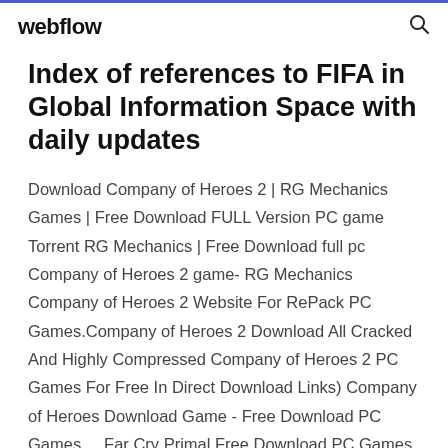webflow
Index of references to FIFA in Global Information Space with daily updates
Download Company of Heroes 2 | RG Mechanics Games | Free Download FULL Version PC game Torrent RG Mechanics | Free Download full pc Company of Heroes 2 game- RG Mechanics Company of Heroes 2 Website For RePack PC Games.Company of Heroes 2 Download All Cracked And Highly Compressed Company of Heroes 2 PC Games For Free In Direct Download Links) Company of Heroes Download Game - Free Download PC Games ... Far Cry Primal Free Download PC Games Highly...